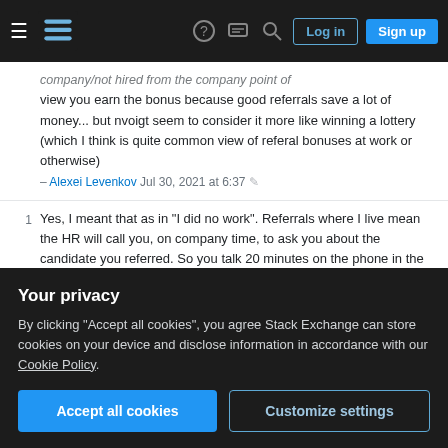Stack Exchange navigation header with hamburger menu, logo, help, search, login, sign up
company/not hired from the company point of view you earn the bonus because good referrals save a lot of money... but nvoigt seem to consider it more like winning a lottery (which I think is quite common view of referal bonuses at work or otherwise)
– Alexei Levenkov Jul 30, 2021 at 6:37
1  Yes, I meant that as in "I did no work". Referrals where I live mean the HR will call you, on company time, to ask you about the candidate you referred. So you talk 20 minutes on the phone in the time you are already being paid for, telling the truth about something. That's not work. I would do that for free for a friend, but I will definetely take the money if the company offers some.
– nvoigt Jul 30, 2021 at 7:16
Your privacy
By clicking "Accept all cookies", you agree Stack Exchange can store cookies on your device and disclose information in accordance with our Cookie Policy.
Accept all cookies  Customize settings
2  @nvoigt I upvoted and agree with most of the answer